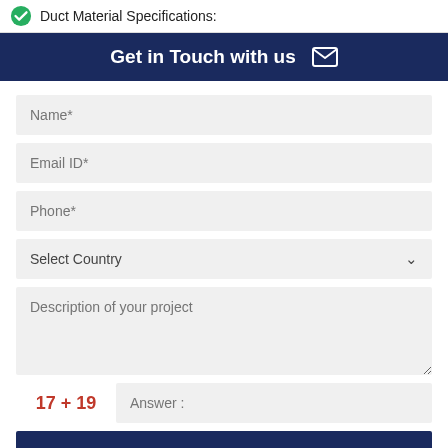Duct Material Specifications:
Get in Touch with us
Name*
Email ID*
Phone*
Select Country
Description of your project
17 + 19   Answer :
SUBMIT